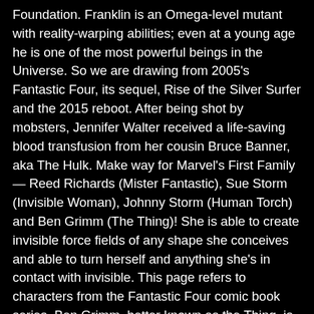Foundation. Franklin is an Omega-level mutant with reality-warping abilities; even at a young age he is one of the most powerful beings in the Universe. So we are drawing from 2005's Fantastic Four, its sequel, Rise of the Silver Surfer and the 2015 reboot. After being shot by mobsters, Jennifer Walter received a life-saving blood transfusion from her cousin Bruce Banner, aka The Hulk. Make way for Marvel's First Family — Reed Richards (Mister Fantastic), Sue Storm (Invisible Woman), Johnny Storm (Human Torch) and Ben Grimm (The Thing)! She is able to create invisible force fields of any shape she conceives and able to turn herself and anything she's in contact with invisible. This page refers to characters from the Fantastic Four comic book series. Ben Grimm, better known as the Thing, is the original quintessential tough-guy of the Marvel Universe. Former Team leader. Fantastic planned a trip through space and time, he tasked each member of the team to find a suitable replacement just in case, as the travel was through time, they would return four minutes after they departed. After being bombarded with a massive dose of gamma radiation while saving a young man's life during an experimental bomb testing, Dr. Robert Bruce Banner was transformed into the Incredible Hulk: a green